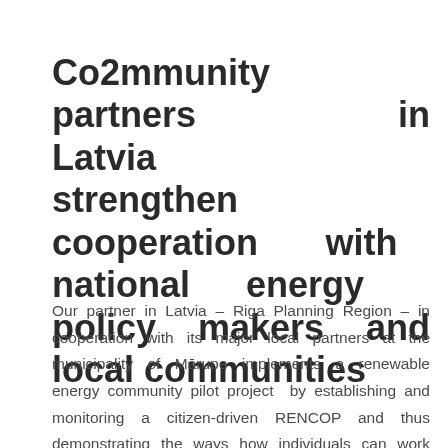Co2mmunity partners in Latvia strengthen cooperation with national energy policy makers and local communities
Our partner in Latvia – Riga Planning Region – in cooperation with its major local partners at the municipality of Mārupe implements a renewable energy community pilot project by establishing and monitoring a citizen-driven RENCOP and thus demonstrating the ways how individuals can work together with a joint purpose to initiate and run...